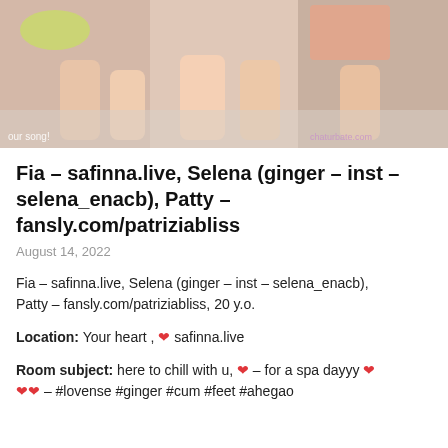[Figure (photo): Screenshot of a video stream showing multiple women sitting together, with watermark text 'chaturbate.com' visible at bottom right and 'our song!' at bottom left]
Fia – safinna.live, Selena (ginger – inst – selena_enacb), Patty – fansly.com/patriziabliss
August 14, 2022
Fia – safinna.live, Selena (ginger – inst – selena_enacb), Patty – fansly.com/patriziabliss, 20 y.o.
Location: Your heart , ❤ safinna.live
Room subject: here to chill with u, ❤ – for a spa dayyy ❤ ❤❤ – #lovense #ginger #cum #feet #ahegao